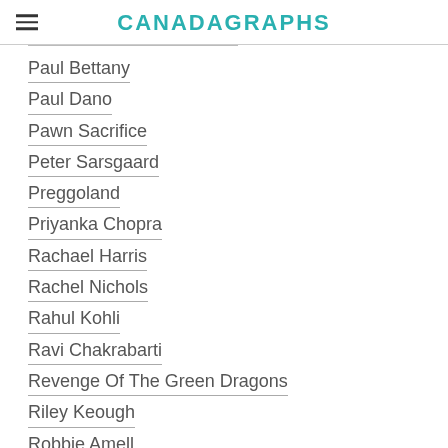CANADAGRAPHS
Paul Bettany
Paul Dano
Pawn Sacrifice
Peter Sarsgaard
Preggoland
Priyanka Chopra
Rachael Harris
Rachel Nichols
Rahul Kohli
Ravi Chakrabarti
Revenge Of The Green Dragons
Riley Keough
Robbie Amell
Robert Buckley